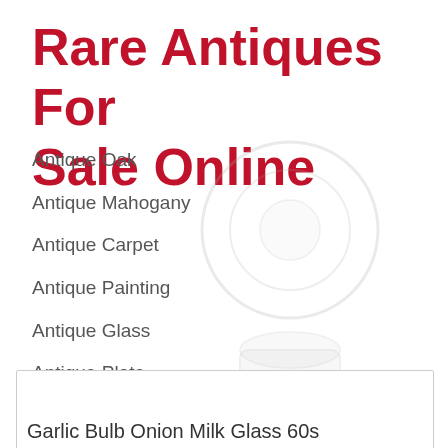Rare Antiques For Sale Online
Antique Oak
Antique Mahogany
Antique Carpet
Antique Painting
Antique Glass
Antique Plate
[Figure (photo): Watermark/ghost images of antique items (glassware/plate) overlapping the navigation list]
Garlic Bulb Onion Milk Glass 60s